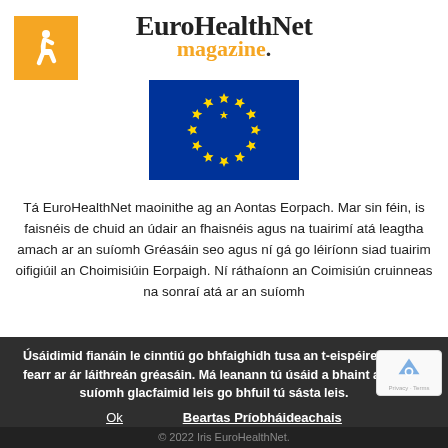EuroHealthNet magazine.
[Figure (logo): Wheelchair accessibility icon in an orange square]
[Figure (illustration): European Union flag: blue background with circle of 12 gold stars]
Tá EuroHealthNet maoinithe ag an Aontas Eorpach. Mar sin féin, is faisnéis de chuid an údair an fhaisnéis agus na tuairimí atá leagtha amach ar an suíomh Gréasáin seo agus ní gá go léiríonn siad tuairim oifigiúil an Choimisiúin Eorpaigh. Ní ráthaíonn an Coimisiún cruinneas na sonraí atá ar an suíomh Gréasáin seo. Ní fhéadfaidh an Coimisiún ná aon duine a g...
Úsáidimid fianáin le cinntiú go bhfaighidh tusa an t-eispéireas is fearr ar ár láithreán gréasáin. Má leanann tú úsáid a bhaint as an suíomh glacfaimid leis go bhfuil tú sásta leis.
Ok   Beartas Príobháideachais
© 2022 Iris EuroHealthNet.